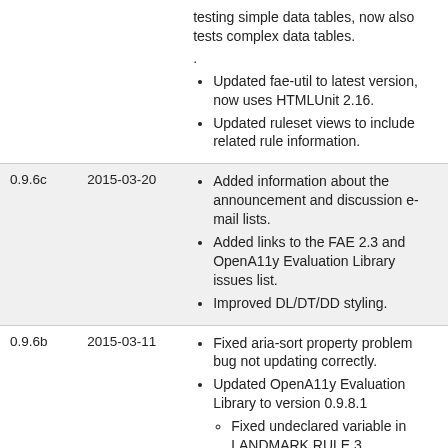| Version | Date | Notes |
| --- | --- | --- |
|  |  | testing simple data tables, now also tests complex data tables.
.
Updated fae-util to latest version, now uses HTMLUnit 2.16.
Updated ruleset views to include related rule information. |
| 0.9.6c | 2015-03-20 | Added information about the announcement and discussion e-mail lists.
Added links to the FAE 2.3 and OpenA11y Evaluation Library issues list.
Improved DL/DT/DD styling. |
| 0.9.6b | 2015-03-11 | Fixed aria-sort property problem bug not updating correctly.
Updated OpenA11y Evaluation Library to version 0.9.8.1
Fixed undeclared variable in LANDMARK RULE 3.
... |